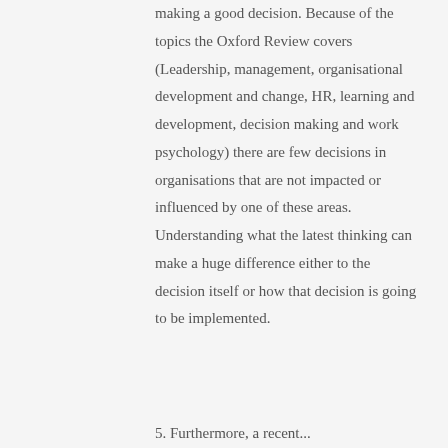making a good decision. Because of the topics the Oxford Review covers (Leadership, management, organisational development and change, HR, learning and development, decision making and work psychology) there are few decisions in organisations that are not impacted or influenced by one of these areas. Understanding what the latest thinking can make a huge difference either to the decision itself or how that decision is going to be implemented.
5. Furthermore, a recent...